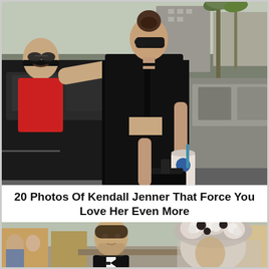[Figure (photo): Street photograph of a tall woman dressed in all black (black blazer, black crop top, black pants) wearing sunglasses and hair in a bun, carrying a coffee cup and black handbag. A man in a red shirt leans out of a car window reaching toward her. Cars and palm trees visible in the background.]
20 Photos Of Kendall Jenner That Force You Love Her Even More
[Figure (photo): Photo of a man in a tuxedo with bow tie sitting at an outdoor cafe, and a woman with an elaborate white floral headpiece/veil beside him.]